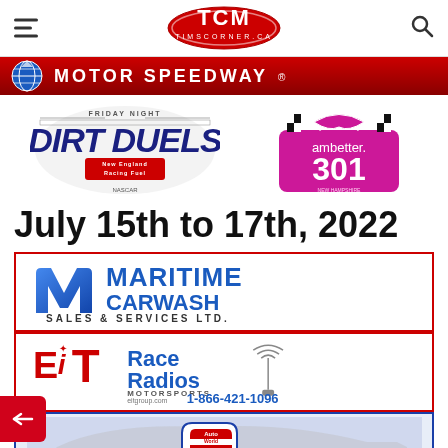TCM TimsCorner.ca navigation header
[Figure (logo): TCM TimsCorner.ca logo in red oval with stylized TCM letters]
[Figure (logo): Motor Speedway banner with globe logo and red background]
[Figure (logo): Dirt Duels Friday Night racing event logo with New England Racing Fuel]
[Figure (logo): Ambetter 301 NASCAR race at New Hampshire logo in pink/magenta]
July 15th to 17th, 2022
[Figure (logo): Maritime Carwash Sales & Services Ltd. advertisement banner]
[Figure (logo): EiT Race Radios Motorsports advertisement - eitgroup.com 1-866-421-1096]
[Figure (logo): AutoWorld Truro advertisement banner]